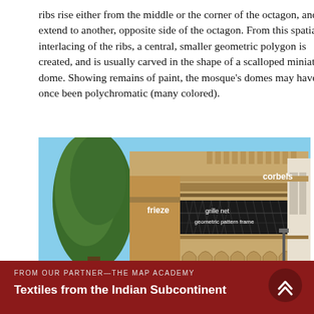ribs rise either from the middle or the corner of the octagon, and extend to another, opposite side of the octagon. From this spatial interlacing of the ribs, a central, smaller geometric polygon is created, and is usually carved in the shape of a scalloped miniature dome. Showing remains of paint, the mosque's domes may have once been polychromatic (many colored).
[Figure (photo): Annotated photograph of a mosque facade showing architectural elements labeled: corbels (at top), frieze (on left side), grille net and geometric pattern frame (in middle band), and blind horseshoe arches (at bottom). A tall conifer tree is visible on the left, and a white building is visible on the right.]
FROM OUR PARTNER—THE MAP ACADEMY
Textiles from the Indian Subcontinent